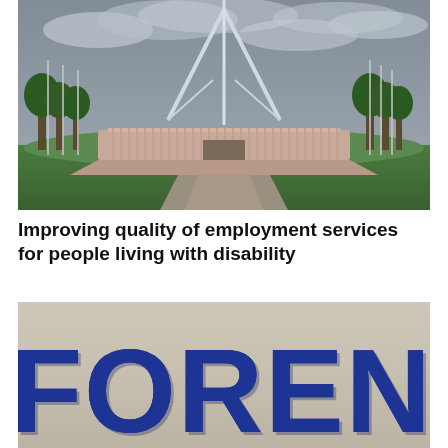[Figure (photo): Photograph of Parliament House in Canberra, Australia, under a cloudy grey sky with a large flagpole/spire in the center, flanked by trees and flag poles.]
Improving quality of employment services for people living with disability
[Figure (photo): Close-up photograph of the word FORENSIC in large bold blue block letters on a cream/beige background, slightly blurred at edges.]